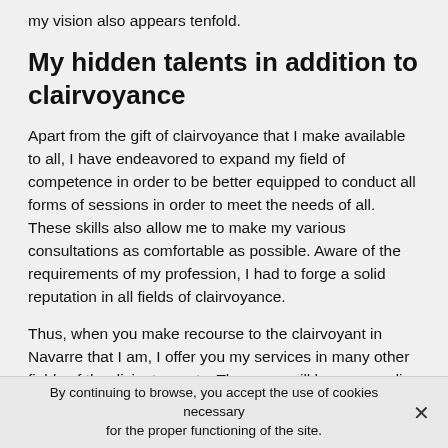my vision also appears tenfold.
My hidden talents in addition to clairvoyance
Apart from the gift of clairvoyance that I make available to all, I have endeavored to expand my field of competence in order to be better equipped to conduct all forms of sessions in order to meet the needs of all. These skills also allow me to make my various consultations as comfortable as possible. Aware of the requirements of my profession, I had to forge a solid reputation in all fields of clairvoyance.
Thus, when you make recourse to the clairvoyant in Navarre that I am, I offer you my services in many other fields of the divinatory arts. Thus, you will have according to your grievances or your problems right for a consultation
By continuing to browse, you accept the use of cookies necessary for the proper functioning of the site.